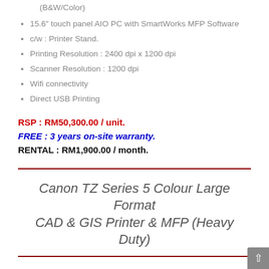(B&W/Color)
15.6″ touch panel AIO PC with SmartWorks MFP Software
c/w : Printer Stand.
Printing Resolution : 2400 dpi x 1200 dpi
Scanner Resolution : 1200 dpi
Wifi connectivity
Direct USB Printing
RSP : RM50,300.00 / unit.
FREE : 3 years on-site warranty.
RENTAL : RM1,900.00 / month.
Canon TZ Series 5 Colour Large Format CAD & GIS Printer & MFP (Heavy Duty)